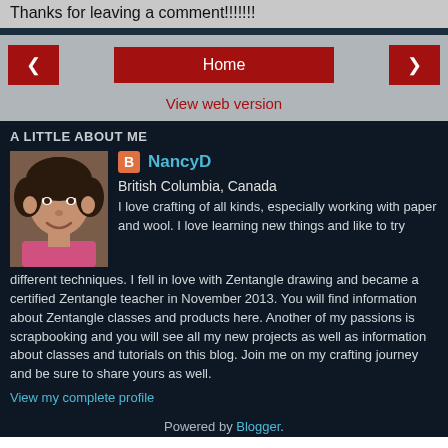Thanks for leaving a comment!!!!!!!
Home
View web version
A LITTLE ABOUT ME
[Figure (photo): Profile photo of NancyD, a woman with dark curly hair wearing a pink top, smiling]
NancyD
British Columbia, Canada
I love crafting of all kinds, especially working with paper and wool. I love learning new things and like to try different techniques. I fell in love with Zentangle drawing and became a certified Zentangle teacher in November 2013. You will find information about Zentangle classes and products here. Another of my passions is scrapbooking and you will see all my new projects as well as information about classes and tutorials on this blog. Join me on my crafting journey and be sure to share yours as well.
View my complete profile
Powered by Blogger.